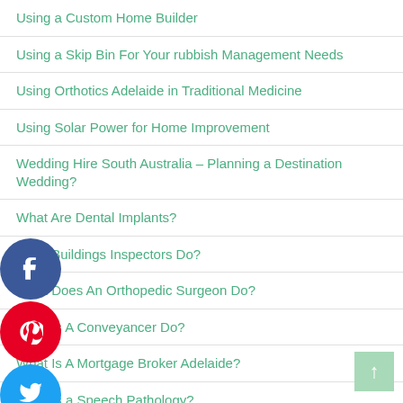Using a Custom Home Builder
Using a Skip Bin For Your rubbish Management Needs
Using Orthotics Adelaide in Traditional Medicine
Using Solar Power for Home Improvement
Wedding Hire South Australia – Planning a Destination Wedding?
What Are Dental Implants?
What Buildings Inspectors Do?
What Does An Orthopedic Surgeon Do?
What Is A Conveyancer Do?
What Is A Mortgage Broker Adelaide?
What Is a Speech Pathology?
What is a TENS Machine?- How it Works
[Figure (infographic): Social media share buttons: Facebook (dark blue circle with f), Pinterest (red circle with p), Twitter (light blue circle with bird), LinkedIn (dark blue circle with in)]